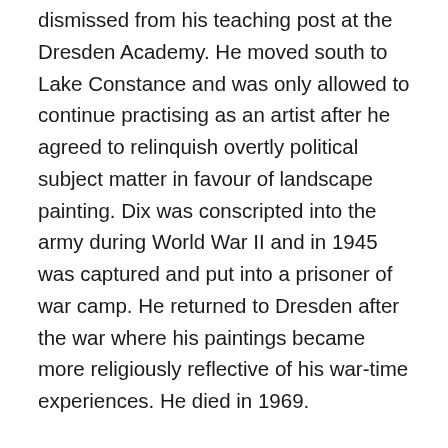dismissed from his teaching post at the Dresden Academy. He moved south to Lake Constance and was only allowed to continue practising as an artist after he agreed to relinquish overtly political subject matter in favour of landscape painting. Dix was conscripted into the army during World War II and in 1945 was captured and put into a prisoner of war camp. He returned to Dresden after the war where his paintings became more religiously reflective of his war-time experiences. He died in 1969.
Der Krieg (War) 1924 arose out of Dix's own experiences of the horrors of war. As outlined above, he had volunteered for service in the army and fought as a machine-gunner on the Western Front. He was wounded a number of times, once almost fatally. War profoundly affected him as an individual and as an artist, and he took every opportunity, both during his active service and